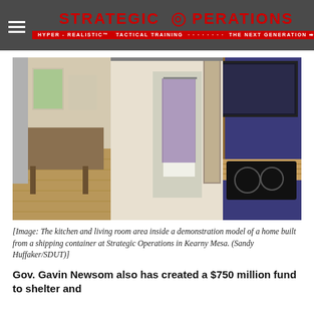Strategic Operations — HYPER-REALISTIC TACTICAL TRAINING ... THE NEXT GENERATION
[Figure (photo): Interior photo of a kitchen and living room area inside a demonstration model of a home built from a shipping container. The image shows hardwood floors, a modern kitchen with a black induction cooktop on a butcher block counter, blue cabinetry, a large TV mounted on the wall, and a hallway leading to a bright living space with a sofa.]
[Image: The kitchen and living room area inside a demonstration model of a home built from a shipping container at Strategic Operations in Kearny Mesa. (Sandy Huffaker/SDUT)]
Gov. Gavin Newsom also has created a $750 million fund to shelter and...